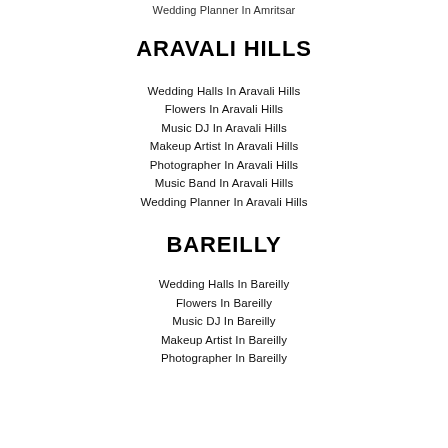Wedding Planner In Amritsar
ARAVALI HILLS
Wedding Halls In Aravali Hills
Flowers In Aravali Hills
Music DJ In Aravali Hills
Makeup Artist In Aravali Hills
Photographer In Aravali Hills
Music Band In Aravali Hills
Wedding Planner In Aravali Hills
BAREILLY
Wedding Halls In Bareilly
Flowers In Bareilly
Music DJ In Bareilly
Makeup Artist In Bareilly
Photographer In Bareilly